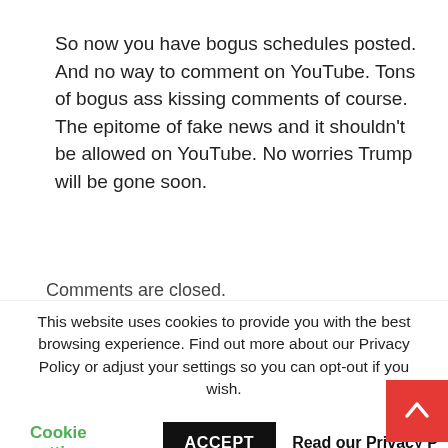So now you have bogus schedules posted. And no way to comment on YouTube. Tons of bogus ass kissing comments of course. The epitome of fake news and it shouldn't be allowed on YouTube. No worries Trump will be gone soon.
Comments are closed.
[Figure (screenshot): Tweets from @Goldstatetimes widget header with Follow button]
This website uses cookies to provide you with the best browsing experience. Find out more about our Privacy Policy or adjust your settings so you can opt-out if you wish.
Cookie settings   ACCEPT   Read our Privacy P